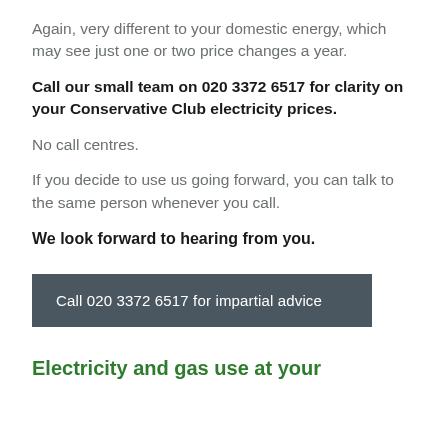Again, very different to your domestic energy, which may see just one or two price changes a year.
Call our small team on 020 3372 6517 for clarity on your Conservative Club electricity prices.
No call centres.
If you decide to use us going forward, you can talk to the same person whenever you call.
We look forward to hearing from you.
Call 020 3372 6517 for impartial advice
Electricity and gas use at your